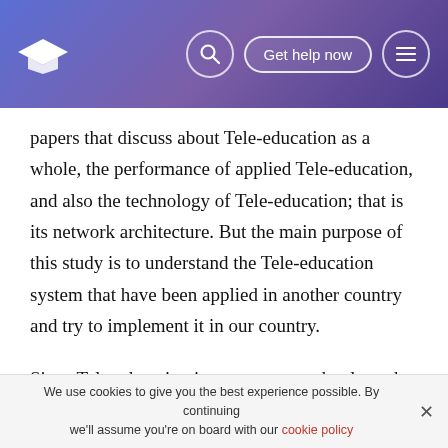Get help now
papers that discuss about Tele-education as a whole, the performance of applied Tele-education, and also the technology of Tele-education; that is its network architecture. But the main purpose of this study is to understand the Tele-education system that have been applied in another country and try to implement it in our country.
Since Tele-education is a very new technology that is popularly discussed today, it is quite difficult for me to find any books that discuss about Tele-education from the
We use cookies to give you the best experience possible. By continuing we'll assume you're on board with our cookie policy